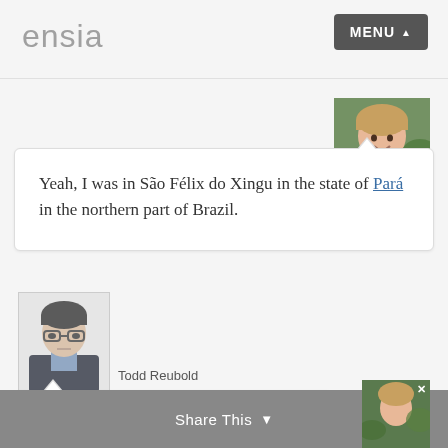ensia   MENU
[Figure (photo): Headshot of Rane Cortez, a woman smiling outdoors with green foliage in background]
Rane Cortez
Yeah, I was in São Félix do Xingu in the state of Pará in the northern part of Brazil.
[Figure (photo): Headshot of Todd Reubold, a man in a dark suit with glasses against a light background]
Todd Reubold
What were you doing there?
Share This